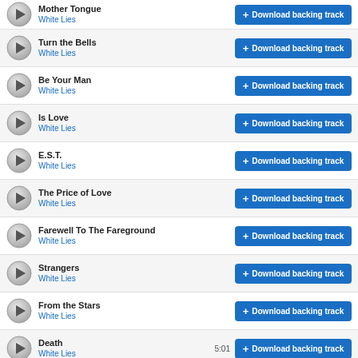Mother Tongue - White Lies + Download backing track
Turn the Bells - White Lies + Download backing track
Be Your Man - White Lies + Download backing track
Is Love - White Lies + Download backing track
E.S.T. - White Lies + Download backing track
The Price of Love - White Lies + Download backing track
Farewell To The Fareground - White Lies + Download backing track
Strangers - White Lies + Download backing track
From the Stars - White Lies + Download backing track
Death - White Lies - 5:01 + Download backing track
Username